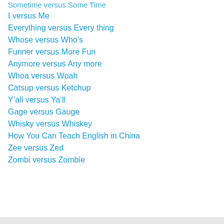Sometime versus Some Time
I versus Me
Everything versus Every thing
Whose versus Who's
Funner versus More Fun
Anymore versus Any more
Whoa versus Woah
Catsup versus Ketchup
Y'all versus Ya'll
Gage versus Gauge
Whisky versus Whiskey
How You Can Teach English in China
Zee versus Zed
Zombi versus Zombie